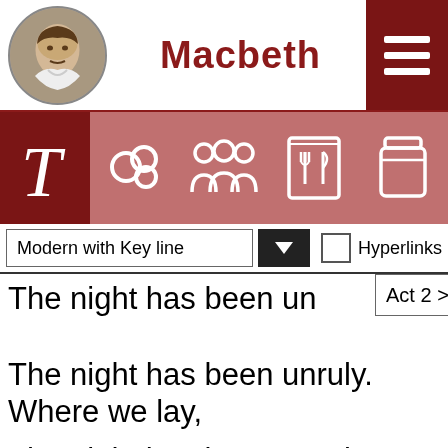Macbeth
[Figure (screenshot): Navigation bar with icons: T (text), themes, characters, a recipe/food book, and a jar/container]
Modern with Key line
Act 2 > Scene 3
Hyperlinks
The night has been unruly. Where we lay,
Our chimneys were blown down, and, as they say,
Lamentings heard i'the air, strange screams of death,